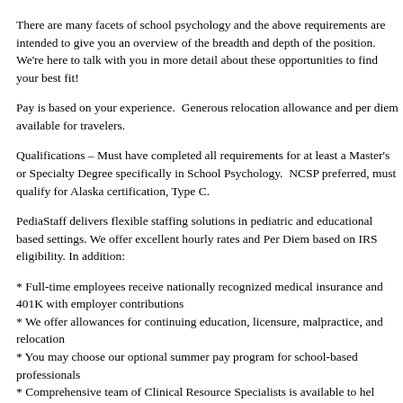There are many facets of school psychology and the above requirements are intended to give you an overview of the breadth and depth of the position. We're here to talk with you in more detail about these opportunities to find your best fit!
Pay is based on your experience.  Generous relocation allowance and per diem available for travelers.
Qualifications – Must have completed all requirements for at least a Master's or Specialty Degree specifically in School Psychology.  NCSP preferred, must qualify for Alaska certification, Type C.
PediaStaff delivers flexible staffing solutions in pediatric and educational based settings. We offer excellent hourly rates and Per Diem based on IRS eligibility. In addition:
* Full-time employees receive nationally recognized medical insurance and 401K with employer contributions
* We offer allowances for continuing education, licensure, malpractice, and relocation
* You may choose our optional summer pay program for school-based professionals
* Comprehensive team of Clinical Resource Specialists is available to help